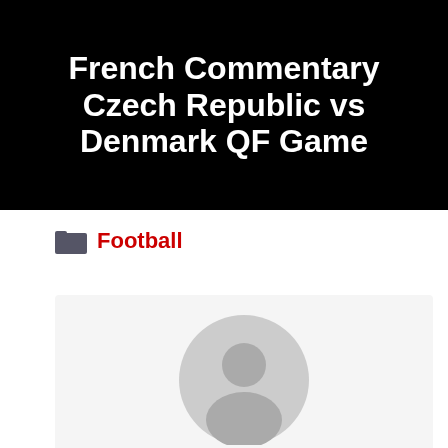[Figure (illustration): Black background hero image with white bold text reading 'French Commentary Czech Republic vs Denmark QF Game']
Football
[Figure (illustration): Author card with gray default avatar (circular person silhouette), author name 'SHIVA' in spaced bold caps, and bio text 'Love to publish Article on']